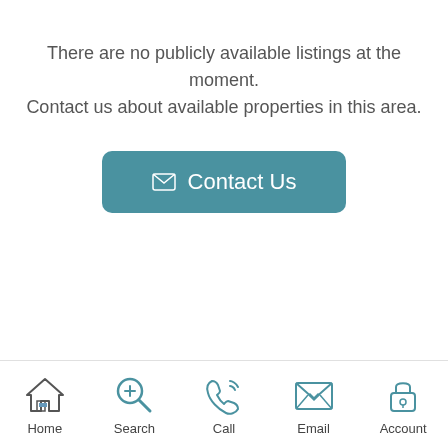There are no publicly available listings at the moment. Contact us about available properties in this area.
[Figure (other): A teal rounded button with an envelope icon and the text 'Contact Us']
Home  Search  Call  Email  Account